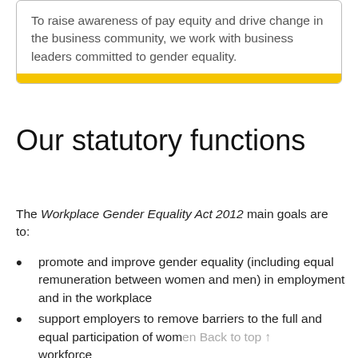To raise awareness of pay equity and drive change in the business community, we work with business leaders committed to gender equality.
Our statutory functions
The Workplace Gender Equality Act 2012 main goals are to:
promote and improve gender equality (including equal remuneration between women and men) in employment and in the workplace
support employers to remove barriers to the full and equal participation of women in the workforce